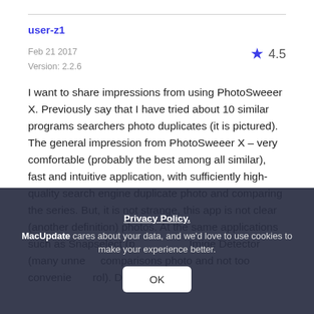user-z1
Feb 21 2017
Version: 2.2.6
4.5
I want to share impressions from using PhotoSweeer X. Previously say that I have tried about 10 similar programs searchers photo duplicates (it is pictured). The general impression from PhotoSweeer X – very comfortable (probably the best among all similar), fast and intuitive application, with sufficiently high-quality search engine duplicate photo and comparing the series. But, it is not strange, this app is not clear (another definition) photos. At the same applications such as Snapselect (p... Imige Detector (many unnec... comparisons photo and not too convenie... rol). DupHunter (this
Privacy Policy.
MacUpdate cares about your data, and we'd love to use cookies to make your experience better.
OK